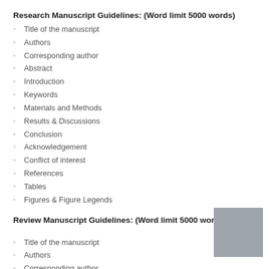Research Manuscript Guidelines: (Word limit 5000 words)
Title of the manuscript
Authors
Corresponding author
Abstract
Introduction
Keywords
Materials and Methods
Results & Discussions
Conclusion
Acknowledgement
Conflict of interest
References
Tables
Figures & Figure Legends
Review Manuscript Guidelines: (Word limit 5000 words)
Title of the manuscript
Authors
Corresponding author
Abstract
[Figure (other): Gray placeholder box in lower right corner]